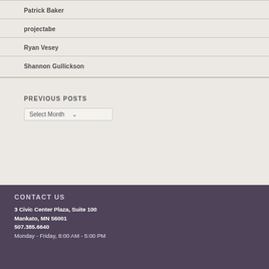Patrick Baker
projectabe
Ryan Vesey
Shannon Gullickson
PREVIOUS POSTS
Select Month
CONTACT US
3 Civic Center Plaza, Suite 100
Mankato, MN 56001
507.385.6640
Monday - Friday, 8:00 AM - 5:00 PM